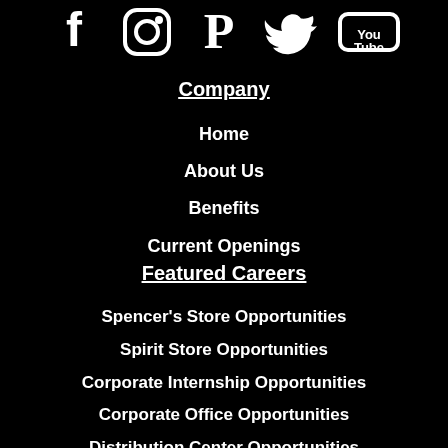[Figure (illustration): Social media icons: Facebook, Instagram, Pinterest, Twitter, YouTube displayed as white icons on black background]
Company
Home
About Us
Benefits
Current Openings
Featured Careers
Spencer's Store Opportunities
Spirit Store Opportunities
Corporate Internship Opportunities
Corporate Office Opportunities
Distribution Center Opportunities